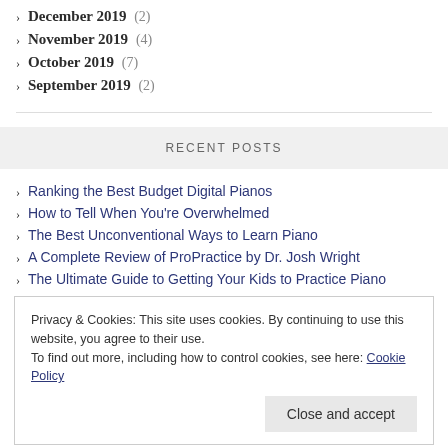December 2019 (2)
November 2019 (4)
October 2019 (7)
September 2019 (2)
RECENT POSTS
Ranking the Best Budget Digital Pianos
How to Tell When You're Overwhelmed
The Best Unconventional Ways to Learn Piano
A Complete Review of ProPractice by Dr. Josh Wright
The Ultimate Guide to Getting Your Kids to Practice Piano
Privacy & Cookies: This site uses cookies. By continuing to use this website, you agree to their use. To find out more, including how to control cookies, see here: Cookie Policy
Blog Feed